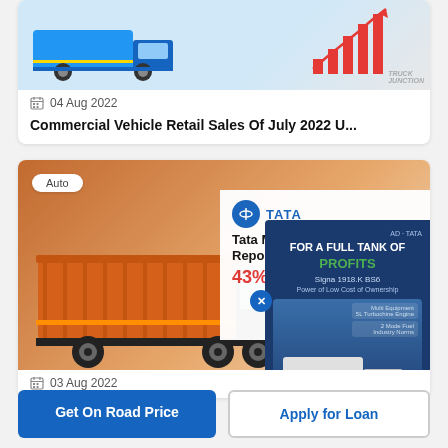[Figure (photo): Blue commercial truck with bar chart growth graphic, truck sales website branding]
04 Aug 2022
Commercial Vehicle Retail Sales Of July 2022 U...
[Figure (photo): Orange Tata commercial truck with Tata Motors Sales Report 43% increase overlay and ad panel for Signa 1918.K BS6]
03 Aug 2022
Get On Road Price
Apply for Loan